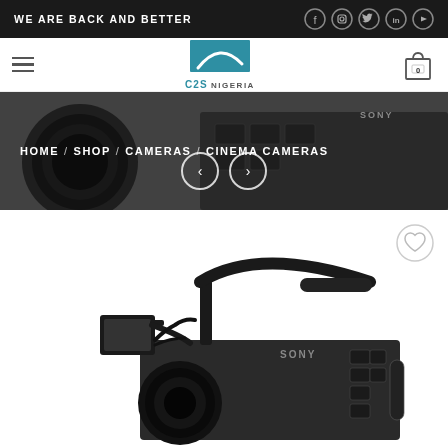WE ARE BACK AND BETTER
[Figure (logo): C2S Nigeria logo with teal square and white swoosh]
HOME / SHOP / CAMERAS / CINEMA CAMERAS
[Figure (photo): Sony cinema camera close-up hero banner image with navigation arrows]
[Figure (photo): Sony cinema camera product photo showing handle, body, and lens, with wishlist heart icon overlay]